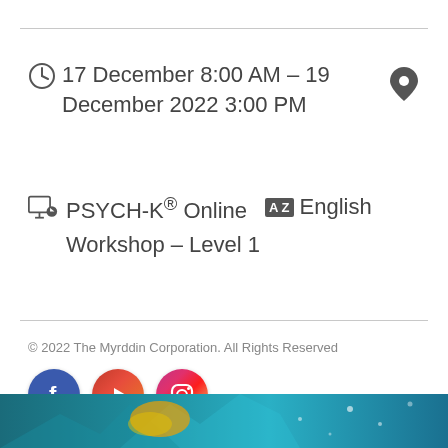17 December 8:00 AM – 19 December 2022 3:00 PM
PSYCH-K® Online Workshop – Level 1   English
© 2022 The Myrddin Corporation. All Rights Reserved